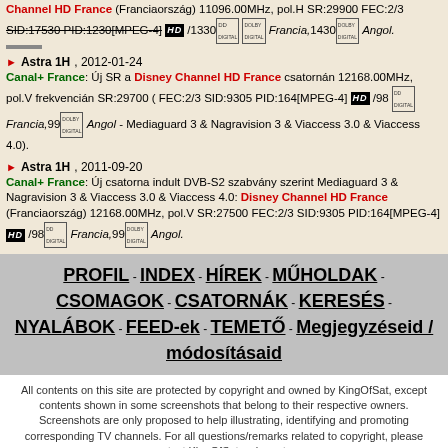Channel HD France (Franciaország) 11096.00MHz, pol.H SR:29900 FEC:2/3 SID:17530 PID:1230[MPEG-4] HD /1330 [Dolby Digital] Francia,1430 [Dolby Digital] Angol.
Astra 1H, 2012-01-24
Canal+ France: Új SR a Disney Channel HD France csatornán 12168.00MHz, pol.V frekvencián SR:29700 ( FEC:2/3 SID:9305 PID:164[MPEG-4] HD /98 [Dolby Digital] Francia,99 [Dolby Digital] Angol - Mediaguard 3 & Nagravision 3 & Viaccess 3.0 & Viaccess 4.0).
Astra 1H, 2011-09-20
Canal+ France: Új csatorna indult DVB-S2 szabvány szerint Mediaguard 3 & Nagravision 3 & Viaccess 3.0 & Viaccess 4.0: Disney Channel HD France (Franciaország) 12168.00MHz, pol.V SR:27500 FEC:2/3 SID:9305 PID:164[MPEG-4] HD /98 [Dolby Digital] Francia,99 [Dolby Digital] Angol.
PROFIL - INDEX - HÍREK - MŰHOLDAK - CSOMAGOK - CSATORNÁK - KERESÉS - NYALÁBOK - FEED-ek - TEMETŐ - Megjegyzéseid / módosításaid
All contents on this site are protected by copyright and owned by KingOfSat, except contents shown in some screenshots that belong to their respective owners. Screenshots are only proposed to help illustrating, identifying and promoting corresponding TV channels. For all questions/remarks related to copyright, please contact KingOfSat webmaster.
685 zapper nézi jelenleg az oldalt.                    Copyright KingOfSat 2022